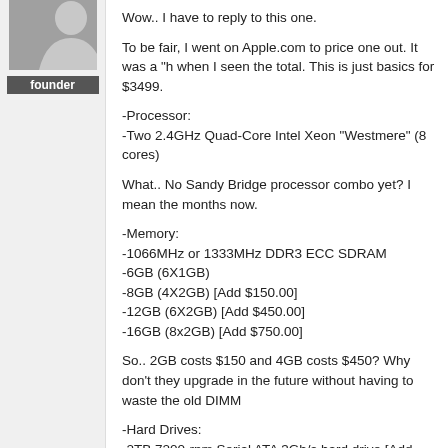[Figure (illustration): Gray avatar placeholder image with a silhouette figure]
founder
Wow.. I have to reply to this one.
To be fair, I went on Apple.com to price one out. It was a "h when I seen the total. This is just basics for $3499.
-Processor:
-Two 2.4GHz Quad-Core Intel Xeon "Westmere" (8 cores)
What.. No Sandy Bridge processor combo yet? I mean the months now.
-Memory:
-1066MHz or 1333MHz DDR3 ECC SDRAM
-6GB (6X1GB)
-8GB (4X2GB) [Add $150.00]
-12GB (6X2GB) [Add $450.00]
-16GB (8x2GB) [Add $750.00]
So.. 2GB costs $150 and 4GB costs $450? Why don't they upgrade in the future without having to waste the old DIMM
-Hard Drives:
-2TB 7200-rpm Serial ATA 3Gb/s hard drive [Add $300.00]